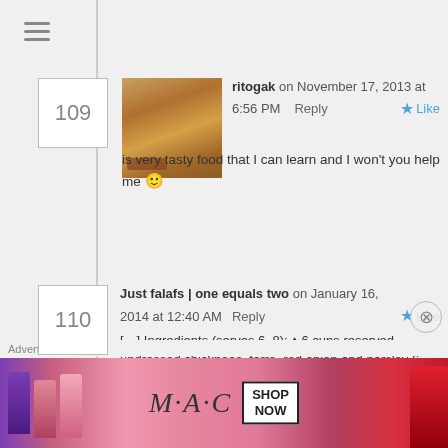≡ (hamburger menu)
109
ritogak on November 17, 2013 at 6:56 PM  Reply  ★ Like
is very tasty food that I can learn and I won't you help me 🙂
110
Just falafs | one equals two on January 16, 2014 at 12:40 AM  Reply  ★ Like
[…] Ingredients (serves 6–8): ♦ 6 cups reserved undressed chickpeas, farro, red onion and parsley 6 cloves garlic, finely chopped 2 tablespoons ground cumin ½ teaspoon salt ½ cup besan flour (or plain/all purpose flour if unavailable) Vegetable oil, for shallow frying To
Advertisements
[Figure (other): MAC Cosmetics advertisement showing lipsticks with SHOP NOW button]